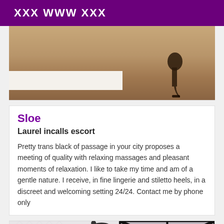XXX WWW XXX
[Figure (photo): Photo showing high-heeled shoes on a wooden floor with white baseboard]
Sloe
Laurel incalls escort
Pretty trans black of passage in your city proposes a meeting of quality with relaxing massages and pleasant moments of relaxation. I like to take my time and am of a gentle nature. I receive, in fine lingerie and stiletto heels, in a discreet and welcoming setting 24/24. Contact me by phone only
[Figure (photo): Photo of a person in dominatrix outfit with leather hat and gloves]